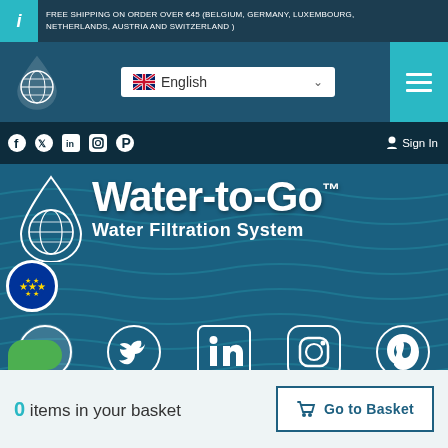FREE SHIPPING ON ORDER OVER €45 (BELGIUM, GERMANY, LUXEMBOURG, NETHERLANDS, AUSTRIA AND SWITZERLAND )
[Figure (screenshot): Navigation bar with Water-to-Go logo, English language selector dropdown, and hamburger menu button]
Sign In
Water-to-Go™ Water Filtration System
[Figure (logo): Water-to-Go globe logo with water drop]
[Figure (infographic): Social media icons: Facebook, Twitter, LinkedIn, Instagram, Pinterest (large white icons on teal background)]
© 2021 Water-to-Go | All Rights Reserved / Design by - Techkriti Group
0 items in your basket
Go to Basket